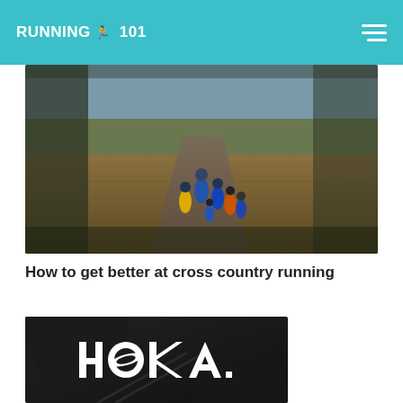RUNNING 101
[Figure (photo): Group of cross country runners running along a dirt trail through dry grassland, viewed from behind]
How to get better at cross country running
[Figure (photo): Dark moody photo with HOKA brand logo in white text, silhouette of person in background]